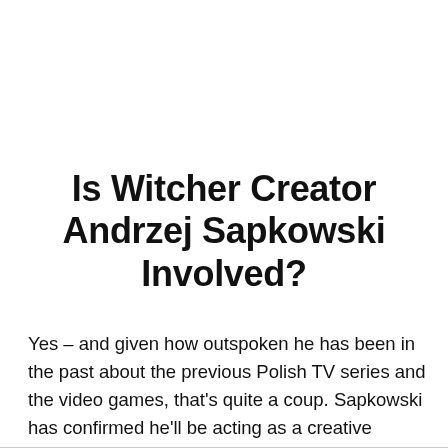Is Witcher Creator Andrzej Sapkowski Involved?
Yes – and given how outspoken he has been in the past about the previous Polish TV series and the video games, that's quite a coup. Sapkowski has confirmed he'll be acting as a creative consultant on the show, and even said: